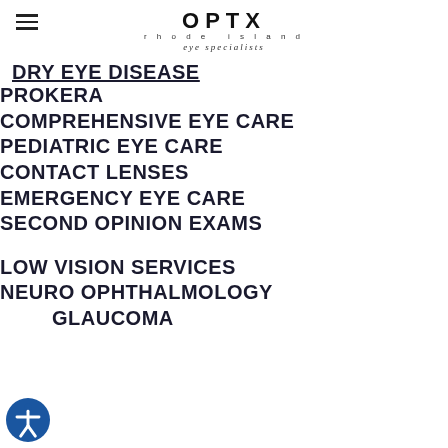OPTX Rhode Island eye specialists
DRY EYE DISEASE (partial, cut off at top)
PROKERA
COMPREHENSIVE EYE CARE
PEDIATRIC EYE CARE
CONTACT LENSES
EMERGENCY EYE CARE
SECOND OPINION EXAMS
LOW VISION SERVICES
NEURO OPHTHALMOLOGY
GLAUCOMA